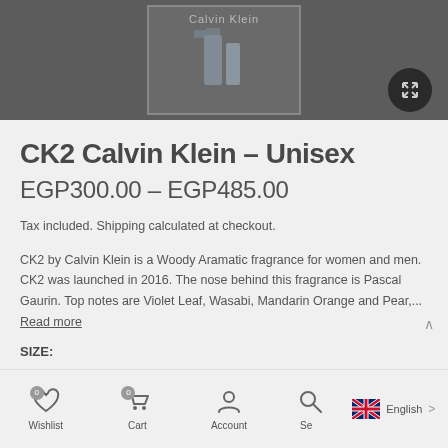[Figure (photo): Product image of CK2 Calvin Klein fragrance bottle with Calvin Klein label, shown in a bordered box]
CK2 Calvin Klein – Unisex
EGP300.00 – EGP485.00
Tax included. Shipping calculated at checkout.
CK2 by Calvin Klein is a Woody Aramatic fragrance for women and men. CK2 was launched in 2016. The nose behind this fragrance is Pascal Gaurin. Top notes are Violet Leaf, Wasabi, Mandarin Orange and Pear,... Read more
SIZE:
Wishlist  Cart  Account  Search  English